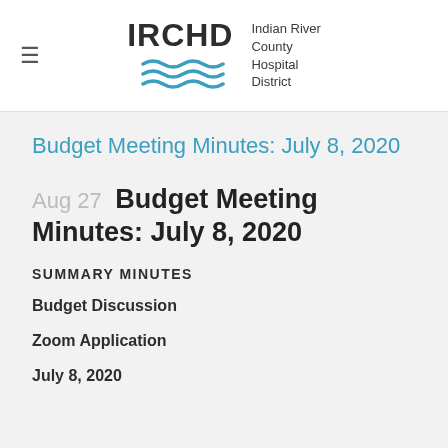[Figure (logo): IRCHD Indian River County Hospital District logo with wavy lines in teal/blue]
Budget Meeting Minutes: July 8, 2020
Aug 27 Budget Meeting Minutes: July 8, 2020
SUMMARY MINUTES
Budget Discussion
Zoom Application
July 8, 2020